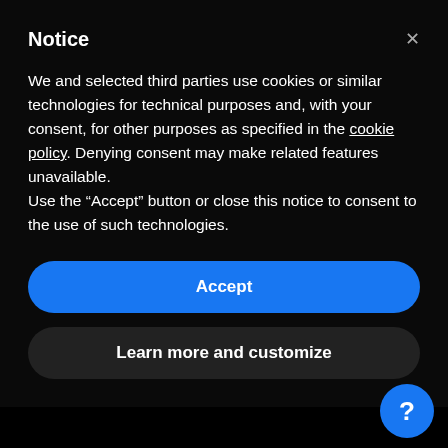Notice
We and selected third parties use cookies or similar technologies for technical purposes and, with your consent, for other purposes as specified in the cookie policy. Denying consent may make related features unavailable.
Use the “Accept” button or close this notice to consent to the use of such technologies.
Accept
Learn more and customize
descriptive, food-related words that may be perfect for your list of food blog names.
Look up foreign food terms or translate some of your favorite blog-related wo…